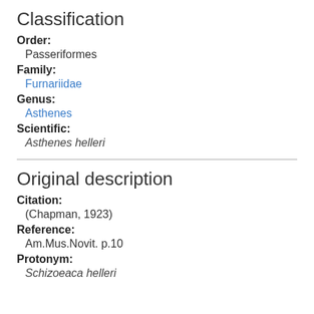Classification
Order: Passeriformes
Family: Furnariidae
Genus: Asthenes
Scientific: Asthenes helleri
Original description
Citation: (Chapman, 1923)
Reference: Am.Mus.Novit. p.10
Protonym: Schizoeaca helleri